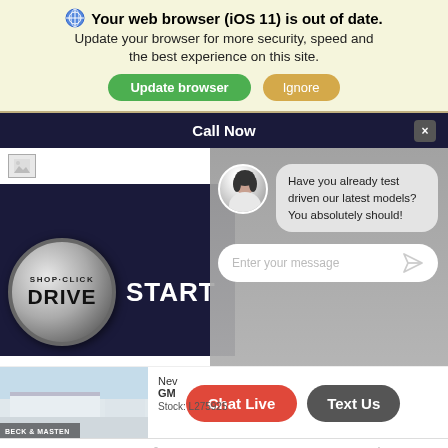🌐 Your web browser (iOS 11) is out of date. Update your browser for more security, speed and the best experience on this site. [Update browser] [Ignore]
Call Now
[Figure (screenshot): A composite screenshot showing a car dealership website (Beck & Masten) with a Shop-Click Drive logo, a chat overlay with an avatar saying 'Have you already test driven our latest models? You absolutely should!', an Enter your message input, Chat Live and Text Us buttons, and a bottom navigation bar with Accessibility, Contact, Search, and Glovebox icons.]